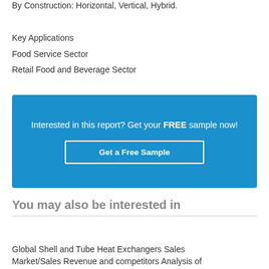By Construction: Horizontal, Vertical, Hybrid.
Key Applications
Food Service Sector
Retail Food and Beverage Sector
[Figure (infographic): Blue promotional banner with text 'Interested in this report? Get your FREE sample now!' and a button labeled 'Get a Free Sample']
You may also be interested in
Global Shell and Tube Heat Exchangers Sales Market/Sales Revenue and competitors Analysis of